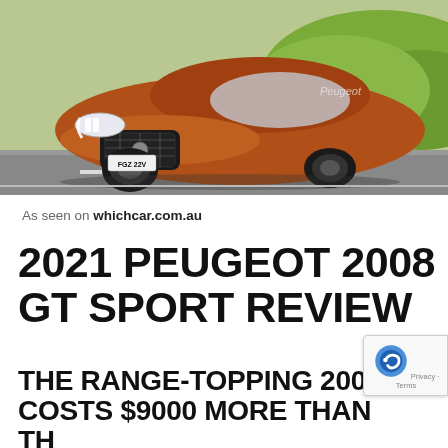[Figure (photo): Orange/copper Peugeot 2008 GT Sport SUV driving on a road, front three-quarter view, with green hills in background. License plate FGZ 22V visible.]
As seen on whichcar.com.au
2021 PEUGEOT 2008 GT SPORT REVIEW
THE RANGE-TOPPING 2008 COSTS $9000 MORE THAN THE ENTRY-LEVEL ALLURE SPEC, SO